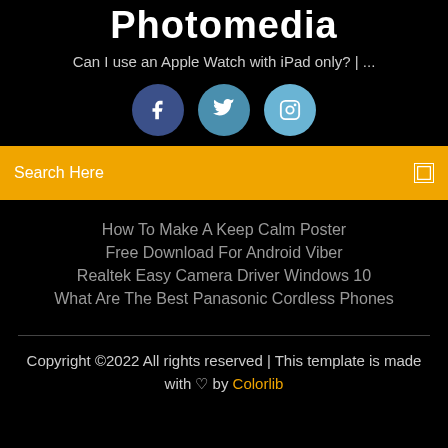Photomedia
Can I use an Apple Watch with iPad only? | ...
[Figure (illustration): Three social media icons in circles: Facebook (dark blue), Twitter (medium blue), Instagram (light blue)]
Search Here
How To Make A Keep Calm Poster
Free Download For Android Viber
Realtek Easy Camera Driver Windows 10
What Are The Best Panasonic Cordless Phones
Copyright ©2022 All rights reserved | This template is made with ♡ by Colorlib